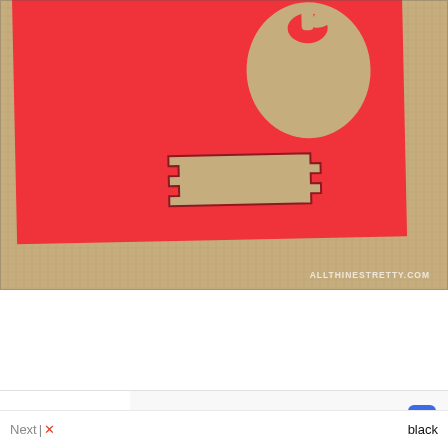[Figure (photo): Close-up photo of a red paper/card with apple and I-beam cutout shapes on a burlap/textile background. A watermark reads ALLTHINESTRETTY.COM in the lower right corner.]
Next [x] ... black
✓ Dine-in  ✓ Curbside pickup